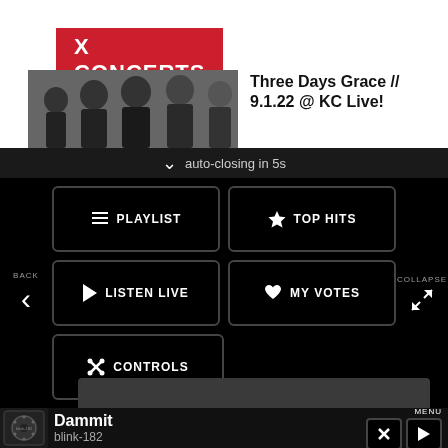[Figure (screenshot): X Concerts banner with red background and white bold text]
[Figure (photo): Band photo of Three Days Grace members in dark clothing]
Three Days Grace // 9.1.22 @ KC Live!
auto-closing in 5s
[Figure (screenshot): Navigation menu with BACK arrow, COLLAPSE button, and grid of navigation buttons: PLAYLIST, TOP HITS, LISTEN LIVE, MY VOTES, CONTROLS]
Data opt-out
Dammit
blink-182
MENU